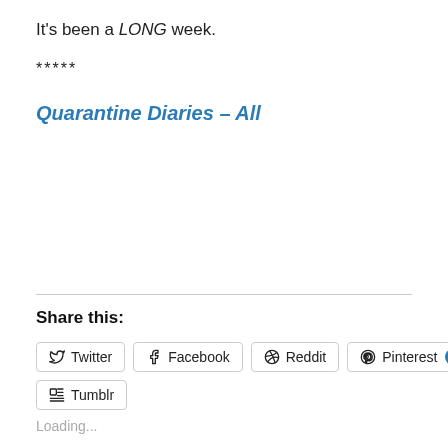It's been a LONG week.
*****
Quarantine Diaries – All
Share this:
Twitter  Facebook  Reddit  Pinterest  Tumblr
Loading...